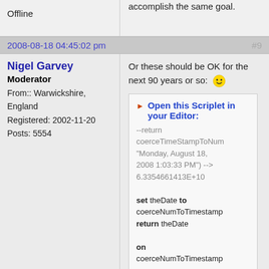accomplish the same goal.
Offline
2008-08-18 04:45:02 pm   #9
Nigel Garvey
Moderator
From:: Warwickshire, England
Registered: 2002-11-20
Posts: 5554
Or these should be OK for the next 90 years or so: :)
Open this Scriplet in your Editor:
--return coerceTimeStampToNum "Monday, August 18, 2008 1:03:33 PM") --> 6.3354661413E+10

set theDate to coerceNumToTimestamp
return theDate

on
coerceNumToTimestamp